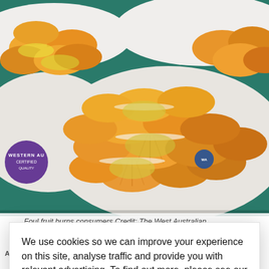[Figure (photo): Close-up photo of sliced orange wedges on white plates, with a purple Western Australia branded sticker visible on the left. Background shows teal/green tablecloth.]
Foul fruit burns consumers Credit: The West Australian
We use cookies so we can improve your experience on this site, analyse traffic and provide you with relevant advertising. To find out more, please see our Cookies Guide.
By continuing to use this site, you agree to our use of cookies.
CLOSE